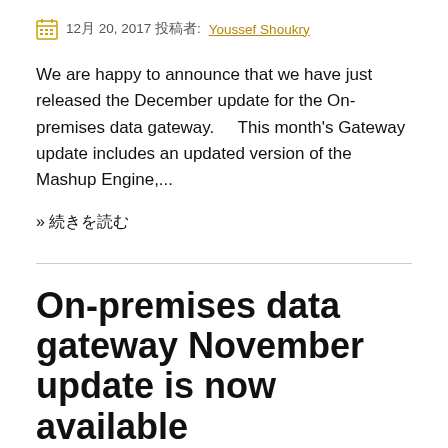12月 20, 2017 投稿者: Youssef Shoukry
We are happy to announce that we have just released the December update for the On-premises data gateway.    This month's Gateway update includes an updated version of the Mashup Engine,...
» 続きを読む
On-premises data gateway November update is now available
Announcements